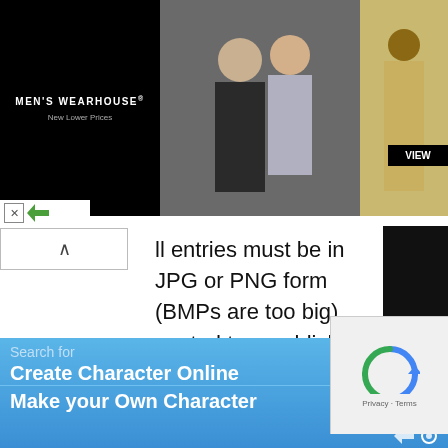[Figure (photo): Men's Wearhouse advertisement banner showing a couple in formal wear and a man in a tan suit with a VIEW button]
ll entries must be in JPG or PNG form (BMPs are too big), posted to a publicly accessible website (like the HeroMachine :,ImageShack, Deviant Art, or whatever); Do NOT use Photobucket
Entries must be made as a comment or comments to this post, containing a link directly to the image and the character name;
Please name your filesas [your name]-[character name].[file extension] before
Search for
Create Character Online
Make your Own Character